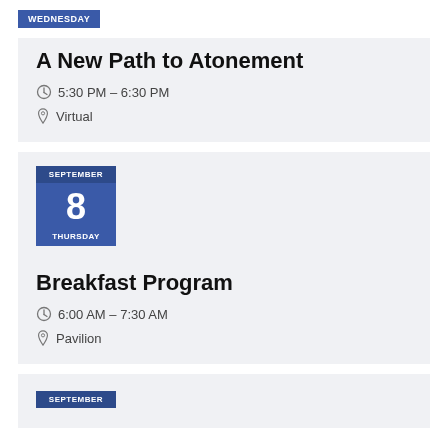WEDNESDAY
A New Path to Atonement
5:30 PM – 6:30 PM
Virtual
SEPTEMBER 8 THURSDAY
Breakfast Program
6:00 AM – 7:30 AM
Pavilion
SEPTEMBER